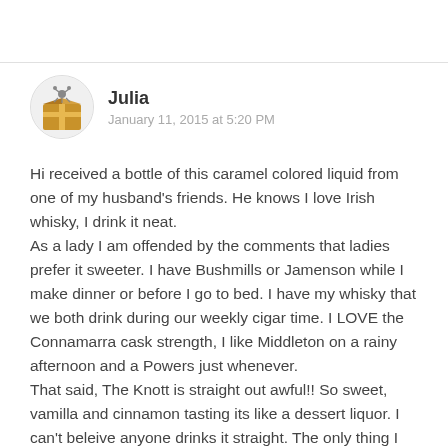[Figure (illustration): User avatar icon: cartoon illustration of a brown box/gift with a small creature/bug on top, circular cropped]
Julia
January 11, 2015 at 5:20 PM
Hi received a bottle of this caramel colored liquid from one of my husband's friends. He knows I love Irish whisky, I drink it neat.
As a lady I am offended by the comments that ladies prefer it sweeter. I have Bushmills or Jamenson while I make dinner or before I go to bed. I have my whisky that we both drink during our weekly cigar time. I LOVE the Connamarra cask strength, I like Middleton on a rainy afternoon and a Powers just whenever.
That said, The Knott is straight out awful!! So sweet, vamilla and cinnamon tasting its like a dessert liquor. I can't beleive anyone drinks it straight. The only thing I